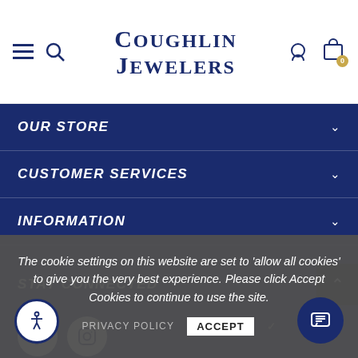Coughlin Jewelers
OUR STORE
CUSTOMER SERVICES
INFORMATION
STAY CONNECTED
[Figure (illustration): Facebook and Instagram social media icon circles]
The cookie settings on this website are set to 'allow all cookies' to give you the very best experience. Please click Accept Cookies to continue to use the site.
PRIVACY POLICY  ACCEPT ✔